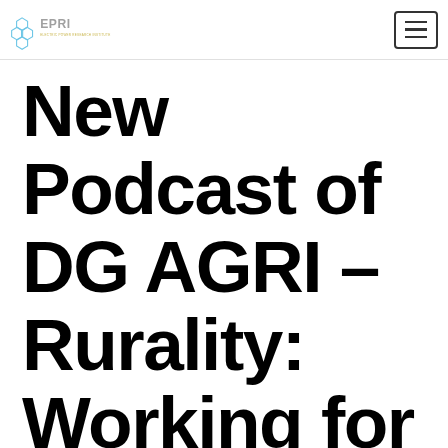EPRI logo and navigation menu button
New Podcast of DG AGRI – Rurality: Working for a better ti...